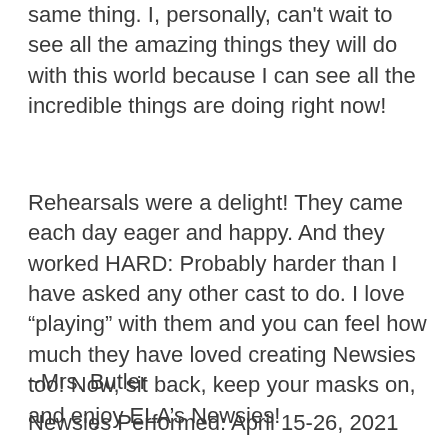same thing. I, personally, can't wait to see all the amazing things they will do with this world because I can see all the incredible things are doing right now!
Rehearsals were a delight! They came each day eager and happy. And they worked HARD: Probably harder than I have asked any other cast to do. I love “playing” with them and you can feel how much they have loved creating Newsies too! Now, sit back, keep your masks on, and enjoy ELA’s Newsies!
~Mrs. Butler
Newsies Performed: April 15-26, 2021